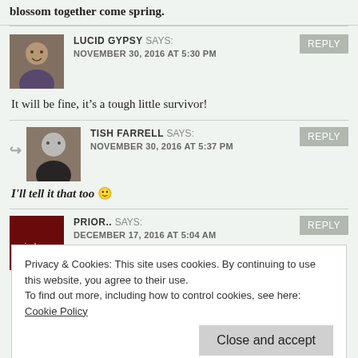blossom together come spring.
LUCID GYPSY SAYS: NOVEMBER 30, 2016 AT 5:30 PM
It will be fine, it's a tough little survivor!
TISH FARRELL SAYS: NOVEMBER 30, 2016 AT 5:37 PM
I'll tell it that too 🙂
PRIOR.. SAYS: DECEMBER 17, 2016 AT 5:04 AM
Privacy & Cookies: This site uses cookies. By continuing to use this website, you agree to their use. To find out more, including how to control cookies, see here: Cookie Policy
I have tried it a few times and I guess it helps prevents